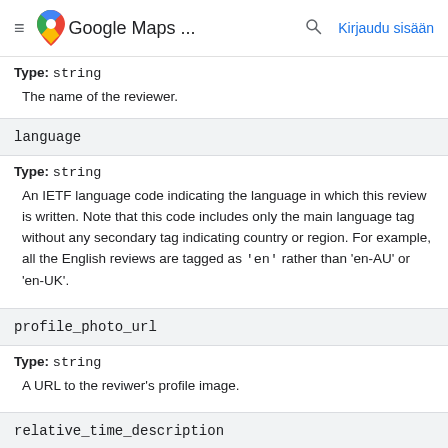Google Maps ... Kirjaudu sisään
Type: string
The name of the reviewer.
language
Type: string
An IETF language code indicating the language in which this review is written. Note that this code includes only the main language tag without any secondary tag indicating country or region. For example, all the English reviews are tagged as 'en' rather than 'en-AU' or 'en-UK'.
profile_photo_url
Type: string
A URL to the reviwer's profile image.
relative_time_description